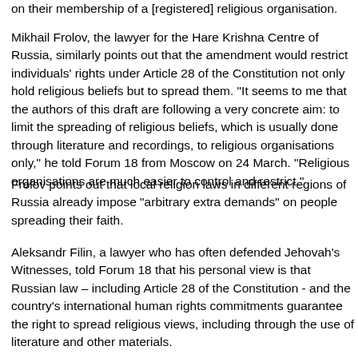on their membership of a [registered] religious organisation.
Mikhail Frolov, the lawyer for the Hare Krishna Centre of Russia, similarly points out that the amendment would restrict individuals' rights under Article 28 of the Constitution not only hold religious beliefs but to spread them. "It seems to me that the authors of this draft are following a very concrete aim: to limit the spreading of religious beliefs, which is usually done through literature and recordings, to religious organisations only," he told Forum 18 from Moscow on 24 March. "Religious organisations are much easier to control and restrict."
Frolov points out that local religion laws in different regions of Russia already impose "arbitrary extra demands" on people spreading their faith.
Aleksandr Filin, a lawyer who has often defended Jehovah's Witnesses, told Forum 18 that his personal view is that Russian law – including Article 28 of the Constitution - and the country's international human rights commitments guarantee the right to spread religious views, including through the use of literature and other materials.